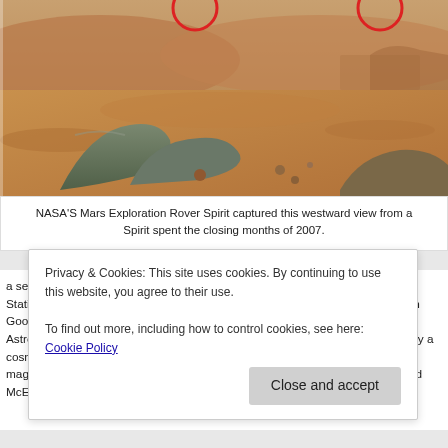[Figure (photo): NASA Mars Exploration Rover Spirit panoramic photo showing reddish-brown Martian surface terrain with rocks, red circle annotations at top]
NASA'S Mars Exploration Rover Spirit captured this westward view from a Spirit spent the closing months of 2007.
a self-described “armchair astronaut” claimed to have identified a human (or Station Alpha. He found a somewhat mysterious linear structure that appears in Google Mars, a new map program created from compiled satellite images. Astronomers immediately identified the structure — in actuality just a white, p by a cosmic ray in the image sensor of the camera that snapped the photo. “W our magnetosphere, such as those taken by orbiting telescopes, it’s very com Alfred McEwen, a planetary geologist at the Lunar and Planetary Lab at the L
Privacy & Cookies: This site uses cookies. By continuing to use this website, you agree to their use.
To find out more, including how to control cookies, see here: Cookie Policy
Close and accept